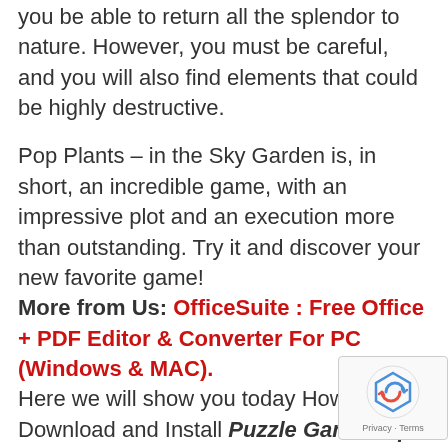you be able to return all the splendor to nature. However, you must be careful, and you will also find elements that could be highly destructive.
Pop Plants – in the Sky Garden is, in short, an incredible game, with an impressive plot and an execution more than outstanding. Try it and discover your new favorite game!
More from Us: OfficeSuite : Free Office + PDF Editor & Converter For PC (Windows & MAC).
Here we will show you today How can you Download and Install Puzzle Game Pop Plants – in the Sky Garden on PC running any OS including Windows and MAC variants, however, if you are interested in other apps, visit our site about Android Apps on PC and